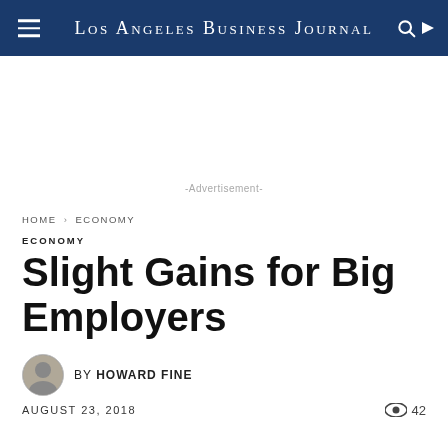Los Angeles Business Journal
-Advertisement-
HOME › ECONOMY
ECONOMY
Slight Gains for Big Employers
BY HOWARD FINE
AUGUST 23, 2018
42